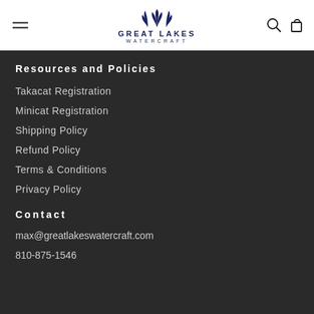[Figure (logo): Great Lakes Watercraft logo with stylized palm/wave icon above text]
Resources and Policies
Takacat Registration
Minicat Registration
Shipping Policy
Refund Policy
Terms & Conditions
Privacy Policy
Contact
max@greatlakeswatercraft.com
810-875-1546